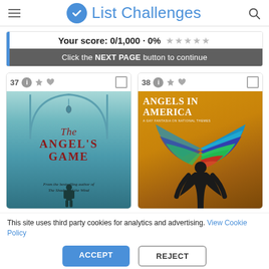List Challenges
Your score: 0/1,000 · 0% ★★★★★
Click the NEXT PAGE button to continue
[Figure (illustration): Book cover #37: The Angel's Game by Carlos Ruiz Zafón. Teal-toned illustration of a man in a coat walking away on a foggy street with gas lamps and an arched structure above. Title text reads 'The ANGEL'S GAME' in red/maroon.]
[Figure (illustration): Book cover #38: Angels in America. Golden/orange background with a figure in silhouette hunched over with large colorful wings (blue, green, red feathers) spread above. Title text reads 'ANGELS IN AMERICA' in white uppercase serif.]
This site uses third party cookies for analytics and advertising. View Cookie Policy
ACCEPT
REJECT